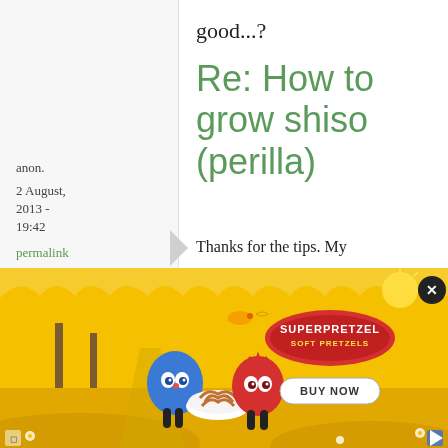good...?
anon.
2 August, 2013 - 19:42
permalink
Re: How to grow shiso (perilla)
Thanks for the tips. My
[Figure (illustration): SuperPretzel Soft Pretzels advertisement banner with yellow background, cartoon characters (blue and red bean-shaped figures holding a bowl of pretzels), a bird, sun, flowers, clouds, SuperPretzel logo, and BUY NOW button. Close button (X) in top right corner.]